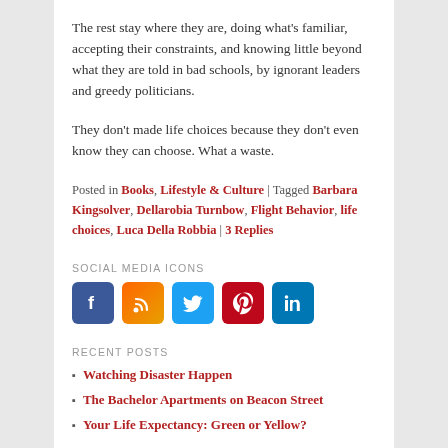The rest stay where they are, doing what's familiar, accepting their constraints, and knowing little beyond what they are told in bad schools, by ignorant leaders and greedy politicians.
They don't made life choices because they don't even know they can choose. What a waste.
Posted in Books, Lifestyle & Culture | Tagged Barbara Kingsolver, Dellarobia Turnbow, Flight Behavior, life choices, Luca Della Robbia | 3 Replies
SOCIAL MEDIA ICONS
[Figure (infographic): Row of 5 social media icon buttons: Facebook (blue), RSS (orange), Twitter (light blue), Pinterest (red), LinkedIn (blue)]
RECENT POSTS
Watching Disaster Happen
The Bachelor Apartments on Beacon Street
Your Life Expectancy: Green or Yellow?